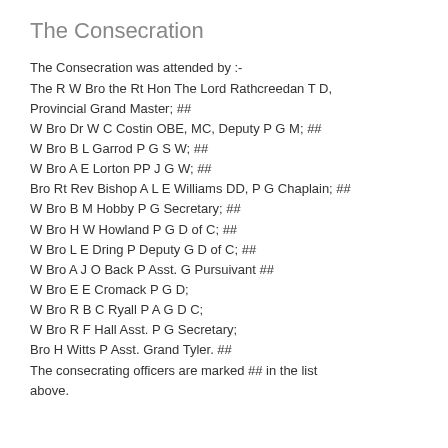The Consecration
The Consecration was attended by :-
The R W Bro the Rt Hon The Lord Rathcreedan T D, Provincial Grand Master; ##
W Bro Dr W C Costin OBE, MC, Deputy P G M; ##
W Bro B L Garrod P G S W; ##
W Bro A E Lorton PP J G W; ##
Bro Rt Rev Bishop A L E Williams DD, P G Chaplain; ##
W Bro B M Hobby P G Secretary; ##
W Bro H W Howland P G D of C; ##
W Bro L E Dring P Deputy G D of C; ##
W Bro A J O Back P Asst. G Pursuivant ##
W Bro E E Cromack P G D;
W Bro R B C Ryall P A G D C;
W Bro R F Hall Asst. P G Secretary;
Bro H Witts P Asst. Grand Tyler. ##
The consecrating officers are marked ## in the list above.